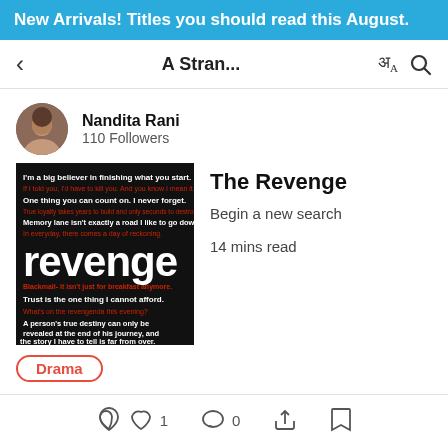New Arrivals! Titles you should read this August.
A Stran...
Nandita Rani
110 Followers
[Figure (photo): Book cover for 'The Revenge' with dark background and white/red text quotes about revenge]
The Revenge
Begin a new search
14 mins read
Drama
1  0